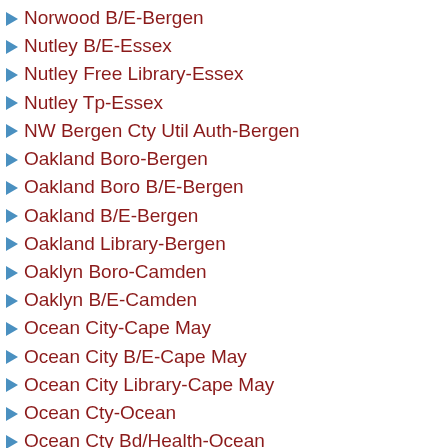Norwood B/E-Bergen
Nutley B/E-Essex
Nutley Free Library-Essex
Nutley Tp-Essex
NW Bergen Cty Util Auth-Bergen
Oakland Boro-Bergen
Oakland Boro B/E-Bergen
Oakland B/E-Bergen
Oakland Library-Bergen
Oaklyn Boro-Camden
Oaklyn B/E-Camden
Ocean City-Cape May
Ocean City B/E-Cape May
Ocean City Library-Cape May
Ocean Cty-Ocean
Ocean Cty Bd/Health-Ocean
Ocean Cty College-Ocean
Ocean Cty Judiciary-Ocean
Ocean Cty Library-Ocean
Ocean Cty Prosecutor's Office-Ocean
Ocean Cty Sheriff's Office-Ocean